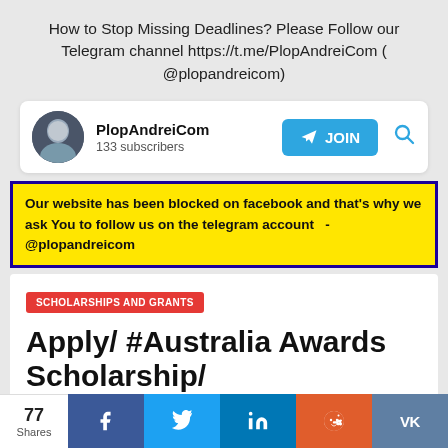How to Stop Missing Deadlines? Please Follow our Telegram channel https://t.me/PlopAndreiCom ( @plopandreicom)
[Figure (screenshot): Telegram channel widget showing PlopAndreiCom with 133 subscribers, a JOIN button and search icon]
Our website has been blocked on facebook and that's why we ask You to follow us on the telegram account - @plopandreicom
SCHOLARSHIPS AND GRANTS
Apply/ #Australia Awards Scholarship/
77 Shares
Share buttons: Facebook, Twitter, LinkedIn, Reddit, VK